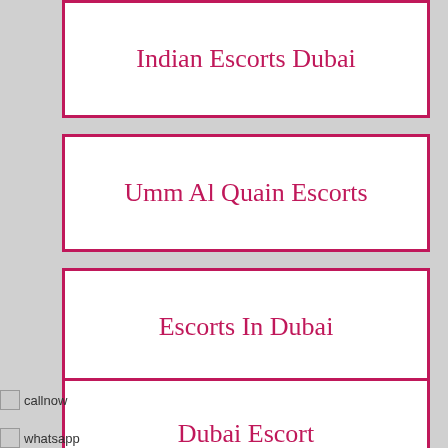Indian Escorts Dubai
Umm Al Quain Escorts
Escorts In Dubai
Dubai Escort
Sexo Bur Dubai